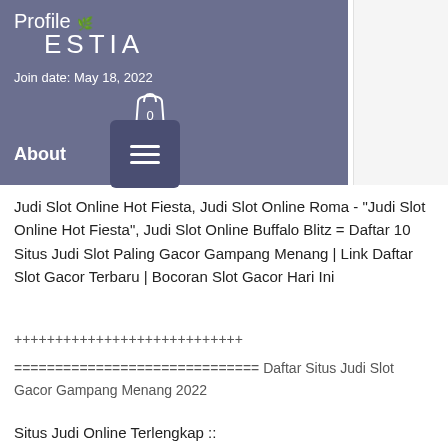Profile ESTIA
Join date: May 18, 2022
About
Judi Slot Online Hot Fiesta, Judi Slot Online Roma - "Judi Slot Online Hot Fiesta", Judi Slot Online Buffalo Blitz = Daftar 10 Situs Judi Slot Paling Gacor Gampang Menang | Link Daftar Slot Gacor Terbaru | Bocoran Slot Gacor Hari Ini
++++++++++++++++++++++++++++
============================== Daftar Situs Judi Slot Gacor Gampang Menang 2022
Situs Judi Online Terlengkap ::